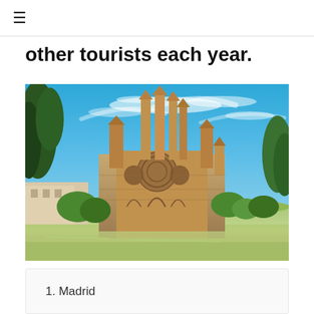≡
other tourists each year.
[Figure (photo): Photograph of the Sagrada Familia basilica in Barcelona, Spain, with tall ornate spires rising against a bright blue sky with wispy clouds, surrounded by green trees and a reflective pond in the foreground.]
1. Madrid